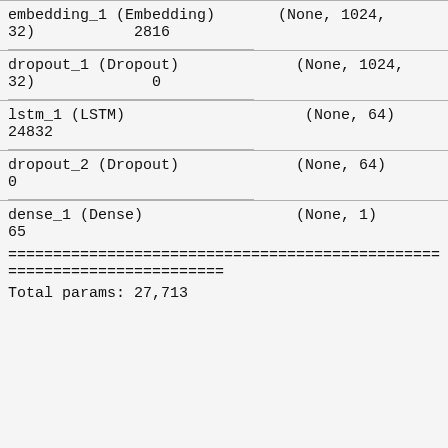| Layer (type) | Output Shape | Param # |
| --- | --- | --- |
| embedding_1 (Embedding) | (None, 1024, 32) | 2816 |
| dropout_1 (Dropout) | (None, 1024, 32) | 0 |
| lstm_1 (LSTM) | (None, 64) | 24832 |
| dropout_2 (Dropout) | (None, 64) | 0 |
| dense_1 (Dense) | (None, 1) | 65 |
Total params: 27,713